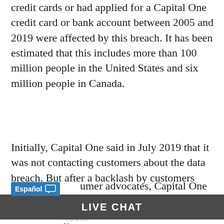credit cards or had applied for a Capital One credit card or bank account between 2005 and 2019 were affected by this breach. It has been estimated that this includes more than 100 million people in the United States and six million people in Canada.
Initially, Capital One said in July 2019 that it was not contacting customers about the data breach. But after a backlash by customers and consumer advocates, Capital One
who were affected by the data breach.
Even so, many people throughout the country